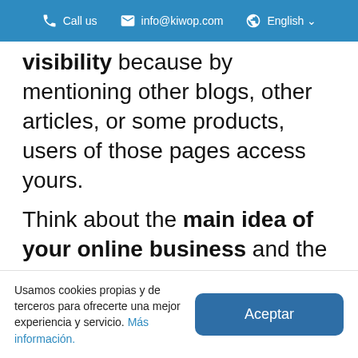Call us   info@kiwop.com   English
visibility because by mentioning other blogs, other articles, or some products, users of those pages access yours.
Think about the main idea of your online business and the goals you want to achieve with your blog and,
Usamos cookies propias y de terceros para ofrecerte una mejor experiencia y servicio. Más información.